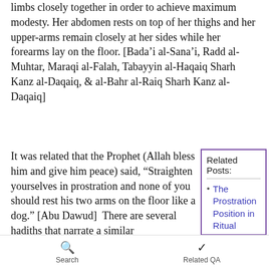limbs closely together in order to achieve maximum modesty. Her abdomen rests on top of her thighs and her upper-arms remain closely at her sides while her forearms lay on the floor. [Bada'i al-Sana'i, Radd al-Muhtar, Maraqi al-Falah, Tabayyin al-Haqaiq Sharh Kanz al-Daqaiq, & al-Bahr al-Raiq Sharh Kanz al-Daqaiq]
It was related that the Prophet (Allah bless him and give him peace) said, “Straighten yourselves in prostration and none of you should rest his two arms on the floor like a dog.” [Abu Dawud]  There are several hadiths that narrate a similar
The Prostration Position in Ritual Prayer for Women
If the prayer time enters and my menstruation starts
Search   Related QA